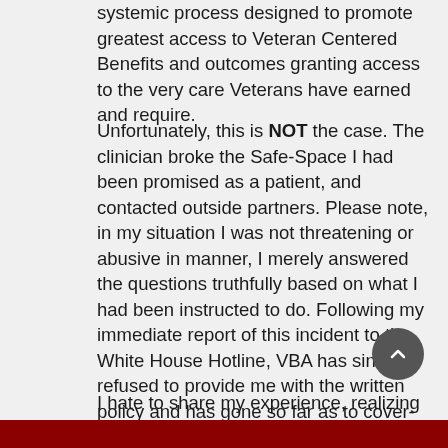systemic process designed to promote greatest access to Veteran Centered Benefits and outcomes granting access to the very care Veterans have earned and require.
Unfortunately, this is NOT the case. The clinician broke the Safe-Space I had been promised as a patient, and contacted outside partners. Please note, in my situation I was not threatening or abusive in manner, I merely answered the questions truthfully based on what I had been instructed to do. Following my immediate report of this incident to the White House Hotline, VBA has since refused to provide me with the written policy and has gone so far as to cover-up for the clinician and QTC.
I hate to share my experience, realizing how greatly Veterans count on the C&P system. But